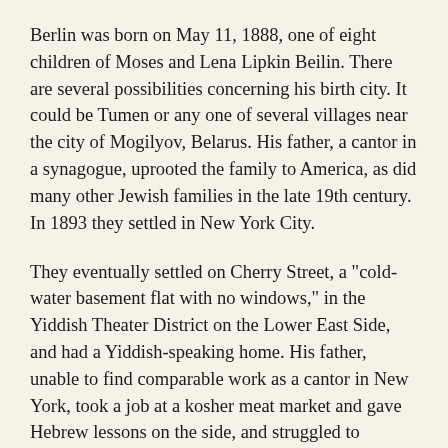Berlin was born on May 11, 1888, one of eight children of Moses and Lena Lipkin Beilin. There are several possibilities concerning his birth city. It could be Tumen or any one of several villages near the city of Mogilyov, Belarus. His father, a cantor in a synagogue, uprooted the family to America, as did many other Jewish families in the late 19th century. In 1893 they settled in New York City.
They eventually settled on Cherry Street, a "cold-water basement flat with no windows," in the Yiddish Theater District on the Lower East Side, and had a Yiddish-speaking home. His father, unable to find comparable work as a cantor in New York, took a job at a kosher meat market and gave Hebrew lessons on the side, and struggled to support his family. He died a few years later when Irving was thirteen years old. With only a few years of schooling, Irving found it necessary to take to the streets to help support his family He became a newspaper boy, hawking The Evening Journal. On his first day of the job, according to Berlin’s biographer and friend, Alexander Woollcott, the boy “stopped to look at a ship about to put out for China. So entranced was he that he failed to notice a swinging crane, and he was knocked into the river. When he was fished out, after going down for the third time, he was still holding tight his bundle of newspapers that constituted his